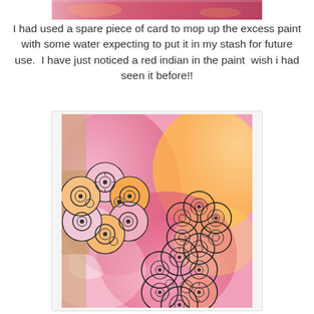[Figure (photo): Partial view of a pink and orange painted card at the top of the page, cropped strip.]
I had used a spare piece of card to mop up the excess paint with some water expecting to put it in my stash for future use.  I have just noticed a red indian in the paint  wish i had seen it before!!
[Figure (photo): A handmade art card with a pink, orange and yellow painted background. Three flower-shaped cutouts are layered on the card, decorated with stamped steampunk gear/clock wheel patterns in black ink.]